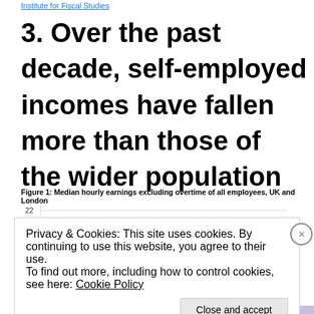Source: Institute for Fiscal Studies
3. Over the past decade, self-employed incomes have fallen more than those of the wider population
Figure 1: Median hourly earnings excluding overtime of all employees, UK and London
[Figure (line-chart): Partial line chart showing y-axis values 20 and 22, chart content mostly obscured by cookie overlay]
Privacy & Cookies: This site uses cookies. By continuing to use this website, you agree to their use.
To find out more, including how to control cookies, see here: Cookie Policy